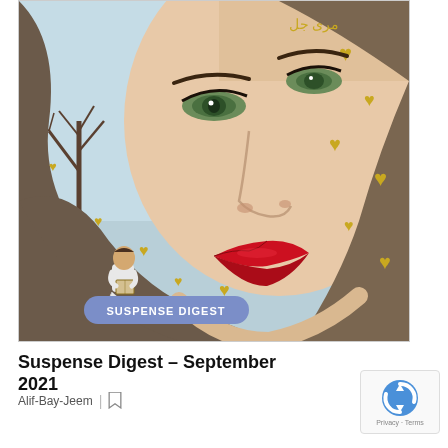[Figure (illustration): Magazine cover illustration of Suspense Digest September 2021. Close-up of a woman's face with green eyes, red lips, wearing a dark grey/brown hijab or scarf decorated with gold/yellow heart shapes. In the lower left of the image, a young man sits reading under a bare tree. Top right corner has Urdu text in yellow/gold. A blue-purple badge reading 'SUSPENSE DIGEST' is overlaid at the bottom left of the image.]
Suspense Digest – September 2021
Alif-Bay-Jeem